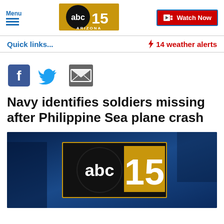Menu | abc15 ARIZONA | Watch Now
Quick links...
⚡ 14 weather alerts
[Figure (screenshot): Social share icons: Facebook, Twitter, Email]
Navy identifies soldiers missing after Philippine Sea plane crash
[Figure (screenshot): ABC15 Arizona news station logo on dark blue background video thumbnail]